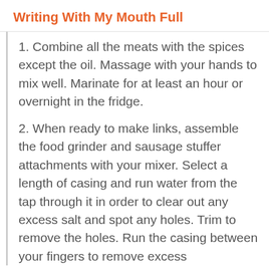Writing With My Mouth Full
1. Combine all the meats with the spices except the oil. Massage with your hands to mix well. Marinate for at least an hour or overnight in the fridge.
2. When ready to make links, assemble the food grinder and sausage stuffer attachments with your mixer. Select a length of casing and run water from the tap through it in order to clear out any excess salt and spot any holes. Trim to remove the holes. Run the casing between your fingers to remove excess